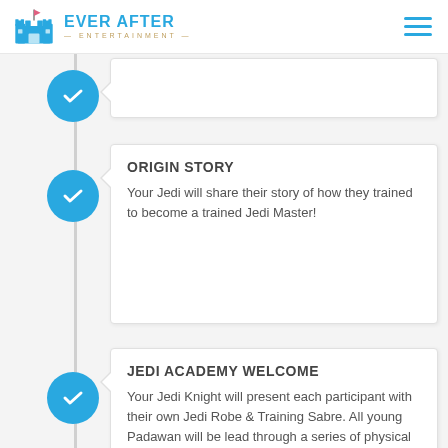Ever After Entertainment
ORIGIN STORY
Your Jedi will share their story of how they trained to become a trained Jedi Master!
JEDI ACADEMY WELCOME
Your Jedi Knight will present each participant with their own Jedi Robe & Training Sabre. All young Padawan will be lead through a series of physical